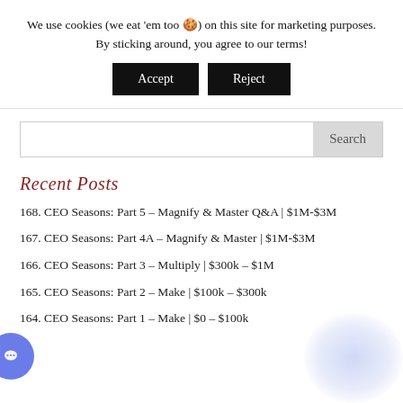We use cookies (we eat 'em too 🍪) on this site for marketing purposes. By sticking around, you agree to our terms!
[Figure (other): Two buttons labeled Accept and Reject with black background]
[Figure (other): Search input field with Search button]
Recent Posts
168. CEO Seasons: Part 5 – Magnify & Master Q&A | $1M-$3M
167. CEO Seasons: Part 4A – Magnify & Master | $1M-$3M
166. CEO Seasons: Part 3 – Multiply | $300k – $1M
165. CEO Seasons: Part 2 – Make | $100k – $300k
164. CEO Seasons: Part 1 – Make | $0 – $100k